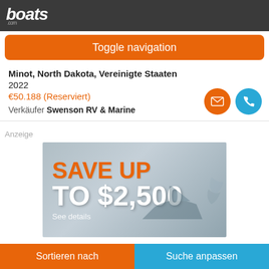boats.com
Toggle navigation
Minot, North Dakota, Vereinigte Staaten
2022
€50.188 (Reserviert)
Verkäufer Swenson RV & Marine
Anzeige
[Figure (screenshot): Advertisement banner showing 'SAVE UP TO $2,500 See details' with a boat image on grey sky background]
Sortieren nach   Suche anpassen